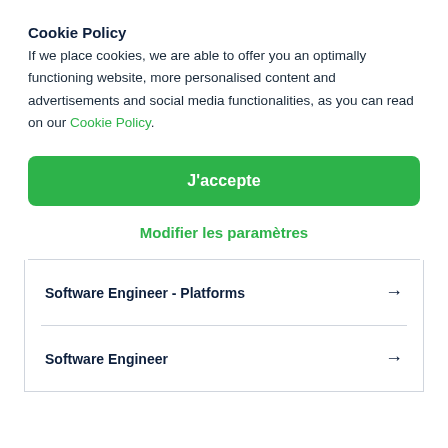Cookie Policy
If we place cookies, we are able to offer you an optimally functioning website, more personalised content and advertisements and social media functionalities, as you can read on our Cookie Policy.
J'accepte
Modifier les paramètres
Software Engineer - Platforms →
Software Engineer →